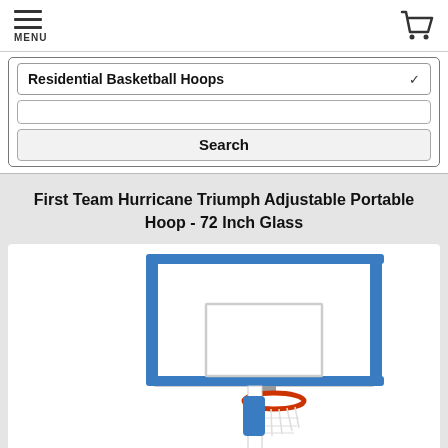MENU | Cart icon
Residential Basketball Hoops (dropdown)
Search (button)
First Team Hurricane Triumph Adjustable Portable Hoop - 72 Inch Glass
[Figure (photo): Photo of a portable basketball hoop with a large 72-inch glass backboard with blue padding, orange rim and white net, mounted on a white adjustable pole base.]